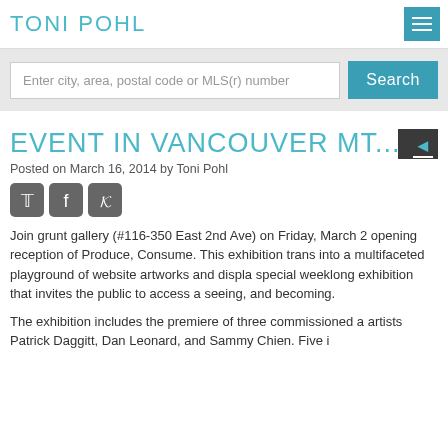TONI POHL
Enter city, area, postal code or MLS(r) number
EVENT IN VANCOUVER MT
Posted on March 16, 2014 by Toni Pohl
[Figure (other): Social media icons: Twitter, Facebook, Pinterest]
Join grunt gallery (#116-350 East 2nd Ave) on Friday, March 2 opening reception of Produce, Consume. This exhibition trans into a multifaceted playground of website artworks and displa special weeklong exhibition that invites the public to access a seeing, and becoming.
The exhibition includes the premiere of three commissioned a artists Patrick Daggitt, Dan Leonard, and Sammy Chien. Five i